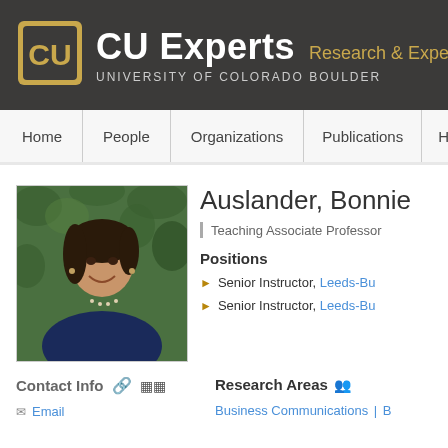[Figure (logo): University of Colorado Boulder CU Experts Research & Expertise logo with gold and white CU buffalo logo on dark background]
CU Experts Research & Expertise | UNIVERSITY OF COLORADO BOULDER
Home | People | Organizations | Publications | Honor
[Figure (photo): Professional headshot of Bonnie Auslander, a woman with dark hair, smiling, wearing a blue top and pearl necklace, against a green leafy background]
Auslander, Bonnie
Teaching Associate Professor
Positions
Senior Instructor, Leeds-Bu
Senior Instructor, Leeds-Bu
Contact Info
Email
Research Areas
Business Communications | B